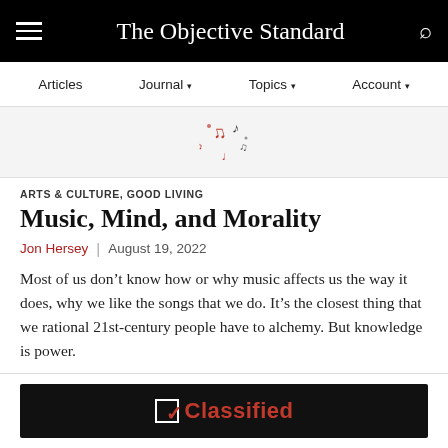The Objective Standard
Articles | Journal | Topics | Account
[Figure (illustration): Decorative music notes illustration in red and black, floating/scattered]
ARTS & CULTURE, GOOD LIVING
Music, Mind, and Morality
Jon Hersey | August 19, 2022
Most of us don’t know how or why music affects us the way it does, why we like the songs that we do. It’s the closest thing that we rational 21st-century people have to alchemy. But knowledge is power.
[Figure (other): Dark banner advertisement with Classified logo: checkbox with red checkmark and red bold text reading Classified]